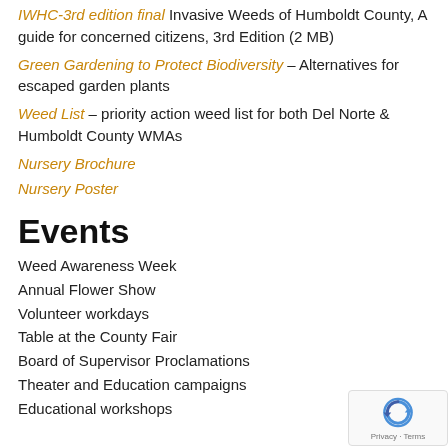IWHC-3rd edition final Invasive Weeds of Humboldt County, A guide for concerned citizens, 3rd Edition (2 MB)
Green Gardening to Protect Biodiversity – Alternatives for escaped garden plants
Weed List – priority action weed list for both Del Norte & Humboldt County WMAs
Nursery Brochure
Nursery Poster
Events
Weed Awareness Week
Annual Flower Show
Volunteer workdays
Table at the County Fair
Board of Supervisor Proclamations
Theater and Education campaigns
Educational workshops